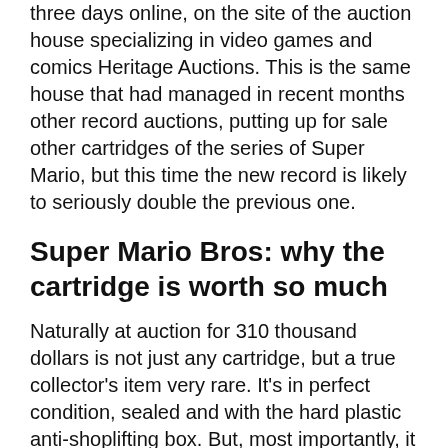three days online, on the site of the auction house specializing in video games and comics Heritage Auctions. This is the same house that had managed in recent months other record auctions, putting up for sale other cartridges of the series of Super Mario, but this time the new record is likely to seriously double the previous one.
Super Mario Bros: why the cartridge is worth so much
Naturally at auction for 310 thousand dollars is not just any cartridge, but a true collector's item very rare. It's in perfect condition, sealed and with the hard plastic anti-shoplifting box. But, most importantly, it belongs to a very limited series of cartridges